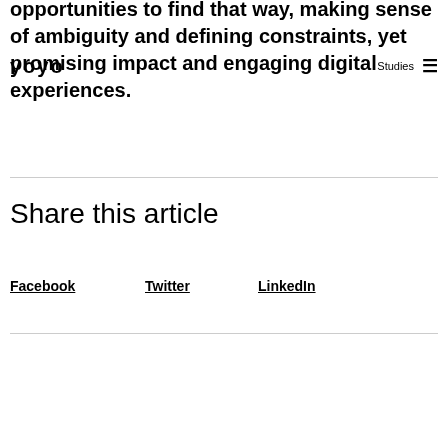opportunities to find that way, making sense of ambiguity and defining constraints, yet promising impact and engaging digital experiences.
yoyo | Studies ≡
Share this article
Facebook
Twitter
LinkedIn